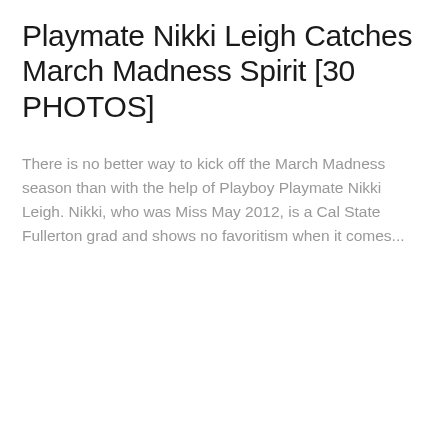Playmate Nikki Leigh Catches March Madness Spirit [30 PHOTOS]
There is no better way to kick off the March Madness season than with the help of Playboy Playmate Nikki Leigh. Nikki, who was Miss May 2012, is a Cal State Fullerton grad and shows no favoritism when it comes...